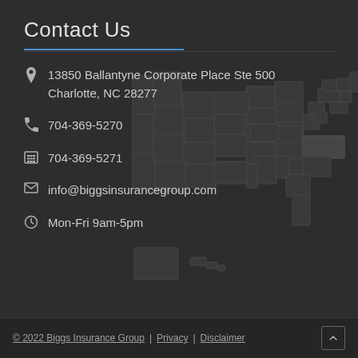Contact Us
13850 Ballantyne Corporate Place Ste 500
Charlotte, NC 28277
704-369-5270
704-369-5271
info@biggsinsurancegroup.com
Mon-Fri 9am-5pm
[Figure (map): Faded dark US map outline showing states, with North Carolina highlighted slightly brighter]
© 2022 Biggs Insurance Group | Privacy | Disclaimer